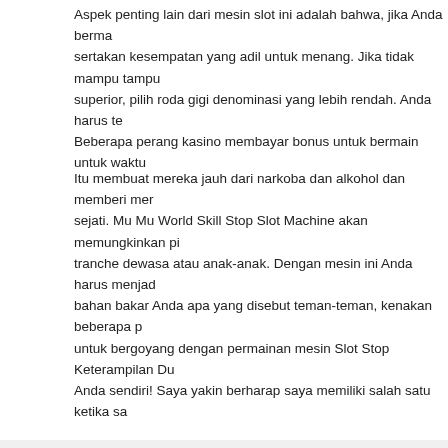Aspek penting lain dari mesin slot ini adalah bahwa, jika Anda berma sertakan kesempatan yang adil untuk menang. Jika tidak mampu tampu superior, pilih roda gigi denominasi yang lebih rendah. Anda harus te Beberapa perang kasino membayar bonus untuk bermain untuk waktu
Itu membuat mereka jauh dari narkoba dan alkohol dan memberi mer sejati. Mu Mu World Skill Stop Slot Machine akan memungkinkan pi tranche dewasa atau anak-anak. Dengan mesin ini Anda harus menjad bahan bakar Anda apa yang disebut teman-teman, kenakan beberapa untuk bergoyang dengan permainan mesin Slot Stop Keterampilan Du Anda sendiri! Saya yakin berharap saya memiliki salah satu ketika sa
filed under: uncategorized ·
College Football Betting Line Money Betting On Sports No
by admin ·